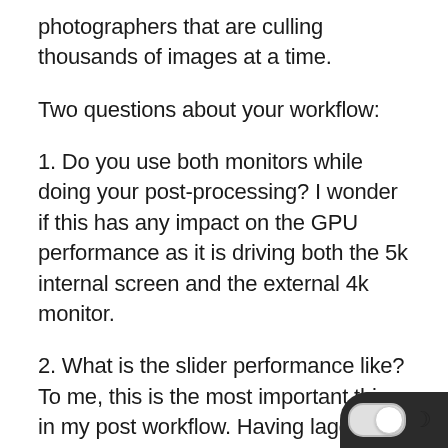photographers that are culling thousands of images at a time.
Two questions about your workflow:
1. Do you use both monitors while doing your post-processing? I wonder if this has any impact on the GPU performance as it is driving both the 5k internal screen and the external 4k monitor.
2. What is the slider performance like? To me, this is the most important thing in my post workflow. Having laggy sliders when editing hundreds of images